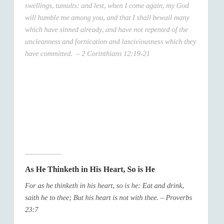swellings, tumults: and lest, when I come again, my God will humble me among you, and that I shall bewail many which have sinned already, and have not repented of the uncleanness and fornication and lasciviousness which they have committed. – 2 Corinthians 12:19-21
As He Thinketh in His Heart, So is He
For as he thinketh in his heart, so is he: Eat and drink, saith he to thee; But his heart is not with thee. – Proverbs 23:7
Share this: